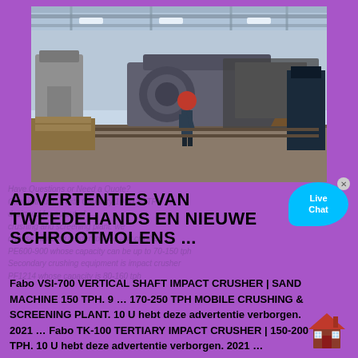[Figure (photo): Industrial factory interior showing a worker in red hard hat next to large machinery with orange and dark metal components on a manufacturing floor with overhead cranes visible]
ADVERTENTIES VAN TWEEDEHANDS EN NIEUWE SCHROOTMOLENS ...
Fabo VSI-700 VERTICAL SHAFT IMPACT CRUSHER | SAND MACHINE 150 TPH. 9 ... 170-250 TPH MOBILE CRUSHING & SCREENING PLANT. 10 U hebt deze advertentie verborgen. 2021 ... Fabo TK-100 TERTIARY IMPACT CRUSHER | 150-200 TPH. 10 U hebt deze advertentie verborgen. 2021 ...